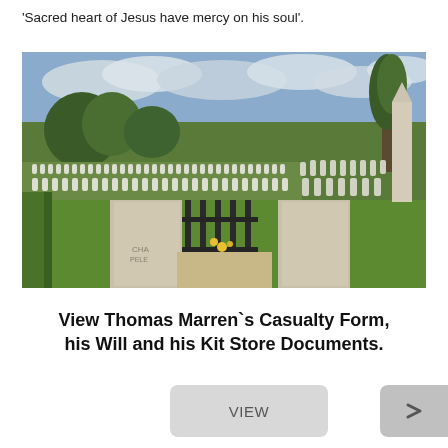'Sacred heart of Jesus have mercy on his soul'.
[Figure (photo): A military cemetery with rows of white headstones on green grass, trees in the background, stone gate pillars and iron gate in the foreground, a large stone monument visible on the right, under a cloudy sky.]
View Thomas Marren`s Casualty Form, his Will and his Kit Store Documents.
VIEW